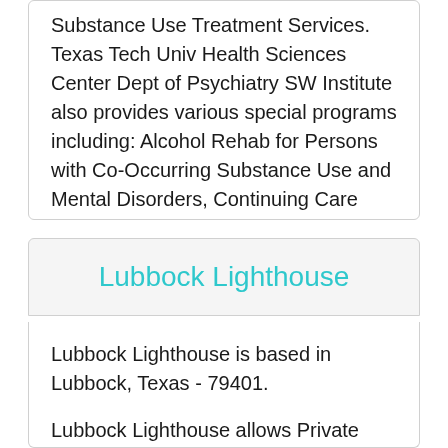Substance Use Treatment Services. Texas Tech Univ Health Sciences Center Dept of Psychiatry SW Institute also provides various special programs including: Alcohol Rehab for Persons with Co-Occurring Substance Use and Mental Disorders, Continuing Care Programs, Substance Abuse Testing.
Lubbock Lighthouse
Lubbock Lighthouse is based in Lubbock, Texas - 79401.
Lubbock Lighthouse allows Private Payment for these treatment approaches: Cognitive-